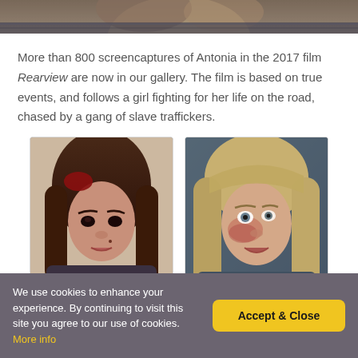[Figure (photo): Top cropped photo showing a person from shoulders up, appears to be outdoors]
More than 800 screencaptures of Antonia in the 2017 film Rearview are now in our gallery. The film is based on true events, and follows a girl fighting for her life on the road, chased by a gang of slave traffickers.
[Figure (photo): Screen capture from Rearview film showing a young woman with dark hair wearing a red hair accessory]
[Figure (photo): Screen capture from Rearview film showing a blonde woman with bruising on her face looking distressed]
We use cookies to enhance your experience. By continuing to visit this site you agree to our use of cookies. More info